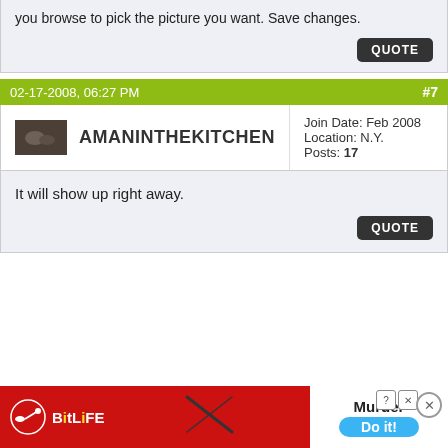you browse to pick the picture you want. Save changes.
QUOTE
02-17-2008, 06:27 PM  #7
AMANINTHEKITCHEN  Join Date: Feb 2008  Location: N.Y.  Posts: 17
It will show up right away.
QUOTE
[Figure (screenshot): BitLife advertisement banner with Murder Do it! text]